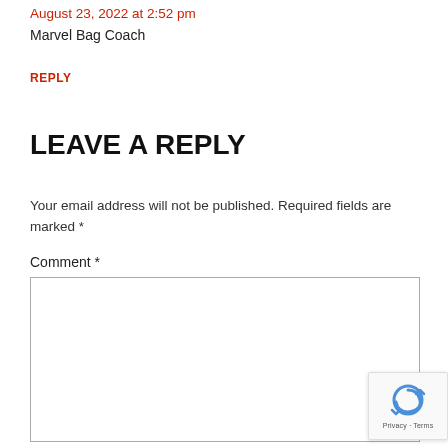August 23, 2022 at 2:52 pm
Marvel Bag Coach
REPLY
LEAVE A REPLY
Your email address will not be published. Required fields are marked *
Comment *